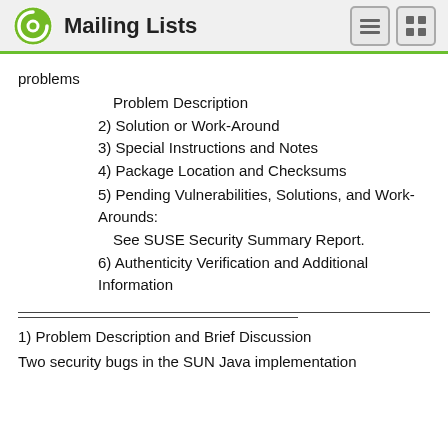Mailing Lists
problems
Problem Description
2) Solution or Work-Around
3) Special Instructions and Notes
4) Package Location and Checksums
5) Pending Vulnerabilities, Solutions, and Work-Arounds:
See SUSE Security Summary Report.
6) Authenticity Verification and Additional Information
1) Problem Description and Brief Discussion
Two security bugs in the SUN Java implementation